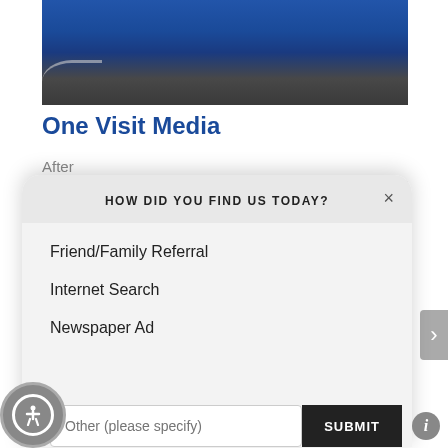[Figure (photo): Photo of a blue building/wall exterior with dark ground/pavement, with a chain or rope detail on the left side.]
One Visit Media
After
[Figure (screenshot): A modal dialog overlaying a webpage. The modal header reads 'HOW DID YOU FIND US TODAY?' with a close (×) button. Below are three options listed: 'Friend/Family Referral', 'Internet Search', 'Newspaper Ad'. At the bottom is a text input placeholder 'Other (please specify)' and a dark 'SUBMIT' button.]